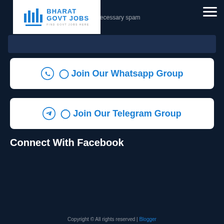[Figure (logo): Bharat Govt Jobs logo with blue columns icon and text]
We will not spam and send unnecessary spam
Join Our Whatsapp Group
Join Our Telegram Group
Connect With Facebook
Copyright © All rights reserved | Blogger